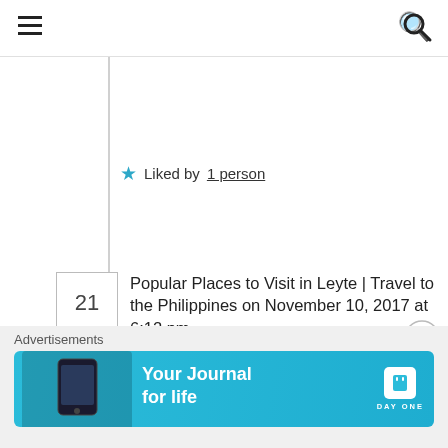Navigation bar with hamburger menu and search icon
★ Liked by 1 person
21 Popular Places to Visit in Leyte | Travel to the Philippines on November 10, 2017 at 6:12 pm
Reply
[…] Photo from: https://dakilanglaagan.wordpress.com/2017/07/07/a-peak-thoughts-on-underestimating-a-mountain/ […]
★ Liked by 1 person
Advertisements
[Figure (screenshot): Day One app advertisement banner with 'Your Journal for life' text and app icon on blue background]